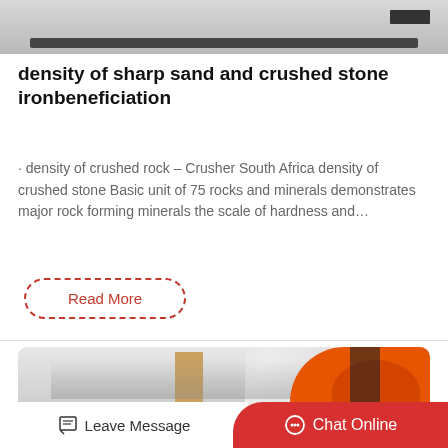[Figure (photo): Top portion of a photo showing industrial/mining equipment, partially visible at top of page]
density of sharp sand and crushed stone ironbeneficiation
· density of crushed rock – Crusher South Africa density of crushed stone Basic unit of 75 rocks and minerals demonstrates major rock forming minerals the scale of hardness and…
Read More
[Figure (photo): Photo of orange/red industrial mining equipment in a snowy winter setting with bare trees and a building in the background]
Leave Message   Chat Online